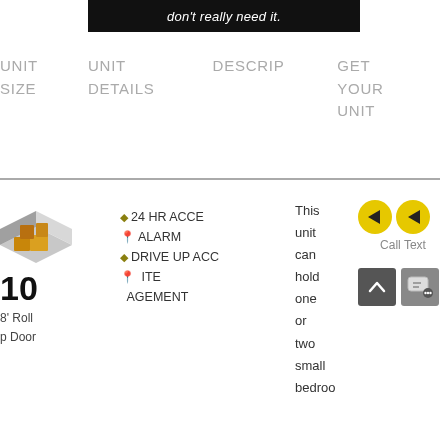don't really need it.
| UNIT SIZE | UNIT DETAILS | DESCRIP | GET YOUR UNIT |
| --- | --- | --- | --- |
[Figure (illustration): Isometric illustration of a storage unit with boxes]
5 x 10
8' Roll
p Door
24 HR ACCESS
ALARM
DRIVE UP ACCESS
CLIMATE CONTROLLED
MANAGEMENT
This unit can hold one or two small bedroo
Call Text